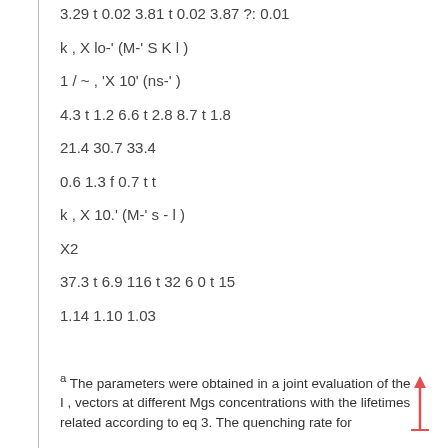3.29 t 0.02 3.81 t 0.02 3.87 ?: 0.01
k , X lo-' (M-' S K l )
1 / ~ , 'X 10' (ns-' )
4.3 t 1.2 6.6 t 2.8 8.7 t 1.8
21.4 30.7 33.4
0.6 1.3 f 0.7 t t
k , X 10.' (M-' s - l )
X2
37.3 t 6.9 116 t 32 6 0 t 15
1.14 1.10 1.03
a The parameters were obtained in a joint evaluation of the I , vectors at different Mgs concentrations with the lifetimes related according to eq 3. The quenching rate for